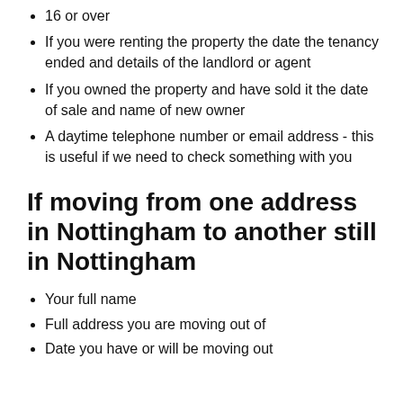16 or over
If you were renting the property the date the tenancy ended and details of the landlord or agent
If you owned the property and have sold it the date of sale and name of new owner
A daytime telephone number or email address - this is useful if we need to check something with you
If moving from one address in Nottingham to another still in Nottingham
Your full name
Full address you are moving out of
Date you have or will be moving out